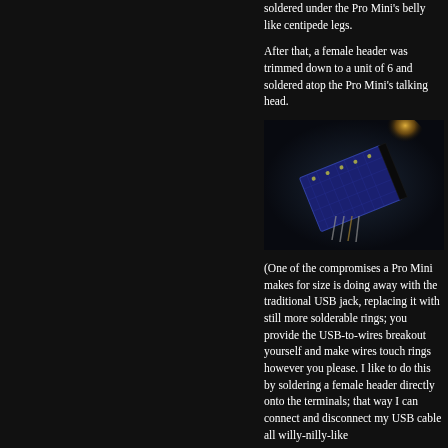[Figure (photo): Close-up photo of an Arduino Pro Mini circuit board with soldered connections, held against a blurred background with a warm light source in the upper area.]
soldered under the Pro Mini's belly like centipede legs.
After that, a female header was trimmed down to a unit of 6 and soldered atop the Pro Mini's talking head.
(One of the compromises a Pro Mini makes for size is doing away with the traditional USB jack, replacing it with still more solderable rings; you provide the USB-to-wires breakout yourself and make wires touch rings however you please. I like to do this by soldering a female header directly onto the terminals; that way I can connect and disconnect my USB cable all willy-nilly-like